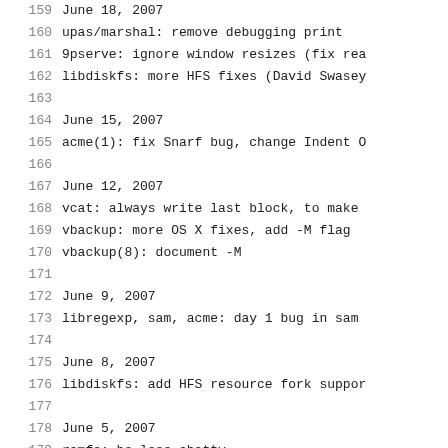159  June 18, 2007
160       upas/marshal: remove debugging print
161       9pserve: ignore window resizes (fix rea
162       libdiskfs: more HFS fixes (David Swasey
163
164  June 15, 2007
165       acme(1): fix Snarf bug, change Indent O
166
167  June 12, 2007
168       vcat: always write last block, to make
169       vbackup: more OS X fixes, add -M flag
170       vbackup(8): document -M
171
172  June 9, 2007
173       libregexp, sam, acme: day 1 bug in sam
174
175  June 8, 2007
176       libdiskfs: add HFS resource fork suppor
177
178  June 5, 2007
179       ramfs: be less chatty
180